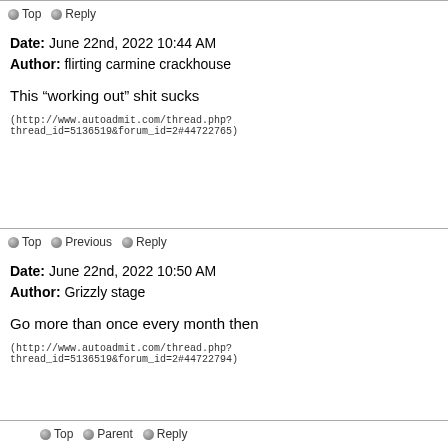Top   Reply
Date: June 22nd, 2022 10:44 AM
Author: flirting carmine crackhouse
This “working out” shit sucks
(http://www.autoadmit.com/thread.php?thread_id=5136519&forum_id=2#44722765)
Top   Previous   Reply
Date: June 22nd, 2022 10:50 AM
Author: Grizzly stage
Go more than once every month then
(http://www.autoadmit.com/thread.php?thread_id=5136519&forum_id=2#44722794)
Top   Parent   Reply